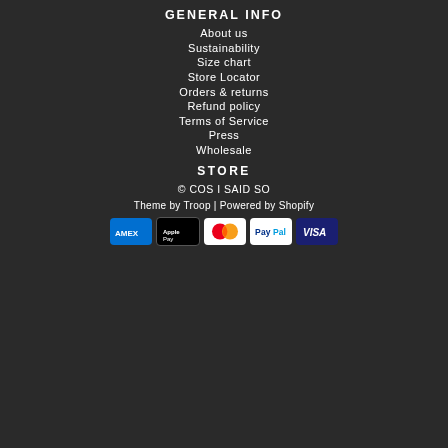GENERAL INFO
About us
Sustainability
Size chart
Store Locator
Orders & returns
Refund policy
Terms of Service
Press
Wholesale
STORE
© COS I SAID SO
Theme by Troop | Powered by Shopify
[Figure (other): Payment method icons: American Express, Apple Pay, Mastercard, PayPal, Visa]